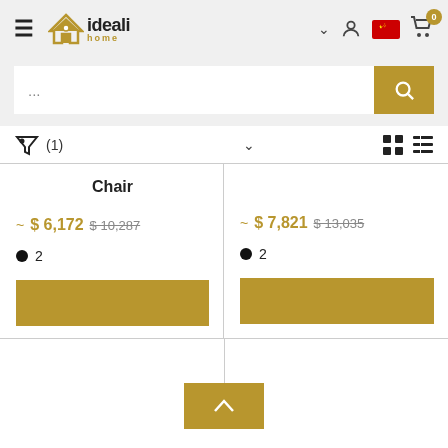[Figure (screenshot): ideali home e-commerce website header with logo, hamburger menu, language/user/cart icons]
[Figure (screenshot): Search bar with text input showing '...' and gold search button]
[Figure (screenshot): Filter bar showing filter icon, (1) active filter, sort chevron, and grid/list view toggle icons]
Chair
~ $ 6,172  $10,287
● 2
~ $ 7,821  $13,035
● 2